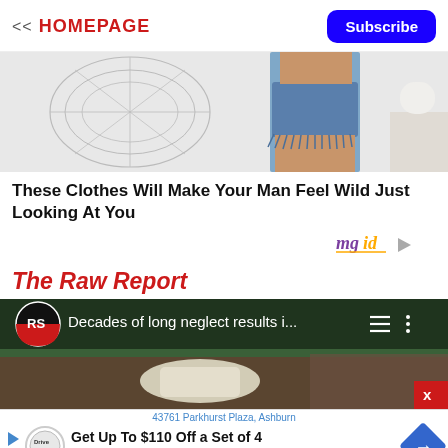<< HOMEPAGE  [Subscribe button]
[Figure (photo): Woman wearing denim shorts near a decorative wire chair, partial view from behind]
These Clothes Will Make Your Man Feel Wild Just Looking At You
[Figure (logo): mgid logo with play arrow]
The Raw Report
[Figure (screenshot): Video thumbnail showing RS logo (Raw Story / Raw Report), text 'Decades of long neglect results i...', hamburger and three-dot menu icons, man bent over in outdoor scene, red X close button]
[Figure (infographic): Bottom advertisement: '43761 Parkhurst Plaza, Ashburn' address, DriveTire logo circle, 'Get Up To $110 Off a Set of 4 Select Firestone Tires' text, blue diamond arrow]